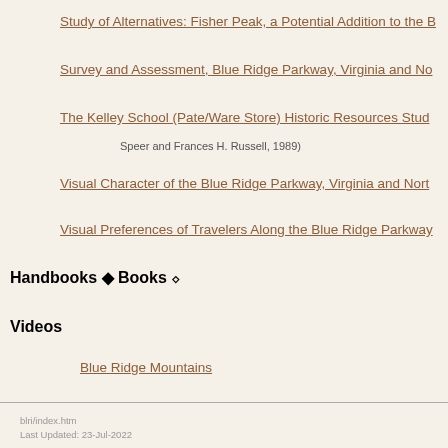Study of Alternatives: Fisher Peak, a Potential Addition to the B[lue Ridge Parkway]
Survey and Assessment, Blue Ridge Parkway, Virginia and No[rth Carolina]
The Kelley School (Pate/Ware Store) Historic Resources Stud[y]
Speer and Frances H. Russell, 1989)
Visual Character of the Blue Ridge Parkway, Virginia and Nort[h Carolina]
Visual Preferences of Travelers Along the Blue Ridge Parkway
Handbooks ◆ Books ⬦
Videos
Blue Ridge Mountains
blri/index.htm
Last Updated: 23-Jul-2022